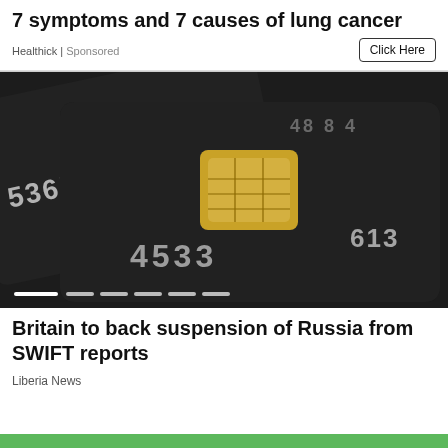7 symptoms and 7 causes of lung cancer
Healthick | Sponsored
[Figure (photo): Close-up photograph of black credit cards with a gold EMV chip, showing embossed numbers including 4533 and partial card numbers.]
Britain to back suspension of Russia from SWIFT reports
Liberia News
[Figure (photo): Green banner or image strip at the bottom of the page.]